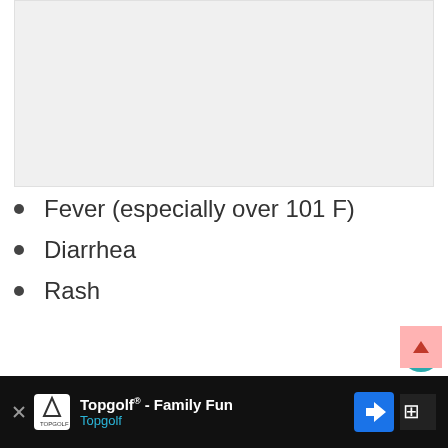[Figure (photo): Placeholder image area at top of page]
Fever (especially over 101 F)
Diarrhea
Rash
If your baby is experiencing these symptoms, you can take a look in their
Topgolf® - Family Fun | Topgolf (advertisement)